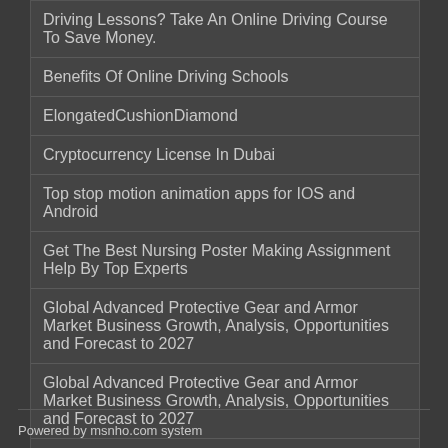Driving Lessons? Take An Online Driving Course To Save Money.
Benefits Of Online Driving Schools
ElongatedCushionDiamond
Cryptocurrency License In Dubai
Top stop motion animation apps for IOS and Android
Get The Best Nursing Poster Making Assignment Help By Top Experts
Global Advanced Protective Gear and Armor Market Business Growth, Analysis, Opportunities and Forecast to 2027
Global Advanced Protective Gear and Armor Market Business Growth, Analysis, Opportunities and Forecast to 2027
More
Powered by msnho.com system